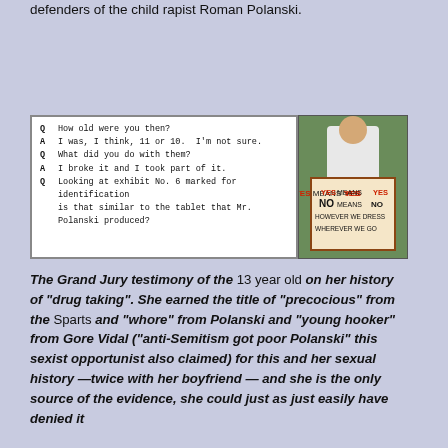defenders of the child rapist Roman Polanski.
[Figure (screenshot): Grand Jury transcript excerpt showing Q&A about age and tablet, alongside a photo of a person holding a sign reading 'YES MEANS YES NO MEANS NO HOWEVER WE DRESS WHEREVER WE GO']
The Grand Jury testimony of the 13 year old on her history of "drug taking". She earned the title of "precocious" from the Sparts and "whore" from Polanski and "young hooker" from Gore Vidal ("anti-Semitism got poor Polanski" this sexist opportunist also claimed) for this and her sexual history —twice with her boyfriend — and she is the only source of the evidence, she could just as just easily have denied it